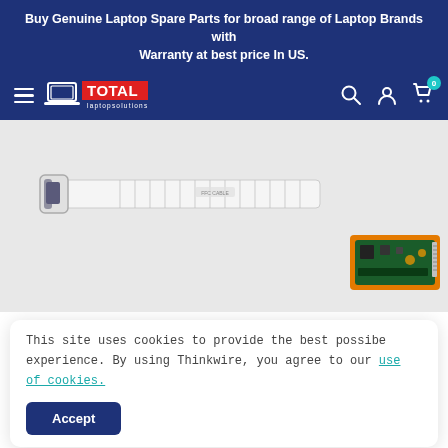Buy Genuine Laptop Spare Parts for broad range of Laptop Brands with Warranty at best price In US.
[Figure (logo): Total Laptop Solutions logo with hamburger menu and nav icons on dark blue navigation bar]
[Figure (photo): Laptop spare parts product photo showing a flat ribbon cable connector and a small green circuit board on a light grey background]
This site uses cookies to provide the best possibe experience. By using Thinkwire, you agree to our use of cookies.
[Figure (photo): Small thumbnail image of laptop spare part product]